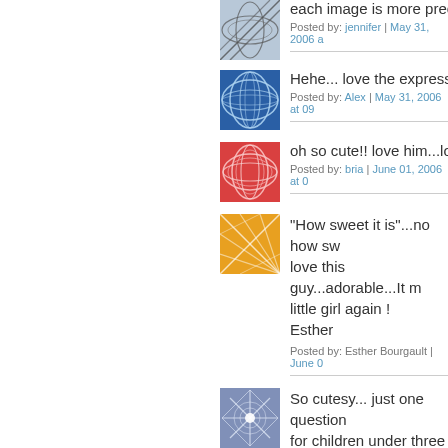[Figure (illustration): Abstract blue/grey swirling lines avatar image (cut off at top)]
each image is more precious...
Posted by: jennifer | May 31, 2006 a...
[Figure (illustration): Abstract blue geometric lines avatar image]
Hehe... love the expression :
Posted by: Alex | May 31, 2006 at 09...
[Figure (illustration): Abstract red/pink swirling lines avatar image]
oh so cute!! love him...love hi...
Posted by: bria | June 01, 2006 at 0...
[Figure (illustration): Abstract orange/yellow diagonal lines avatar image]
"How sweet it is"...no how sw... love this guy...adorable...It m... little girl again !
Esther
Posted by: Esther Bourgault | June 0...
[Figure (illustration): Abstract blue/grey star pattern avatar image]
So cutesy... just one question... for children under three if you... accessories until later? my fr... baby, and would make such a...